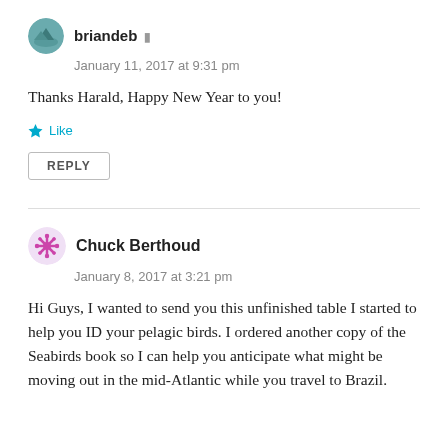briandeb
January 11, 2017 at 9:31 pm
Thanks Harald, Happy New Year to you!
Like
REPLY
Chuck Berthoud
January 8, 2017 at 3:21 pm
Hi Guys, I wanted to send you this unfinished table I started to help you ID your pelagic birds. I ordered another copy of the Seabirds book so I can help you anticipate what might be moving out in the mid-Atlantic while you travel to Brazil.